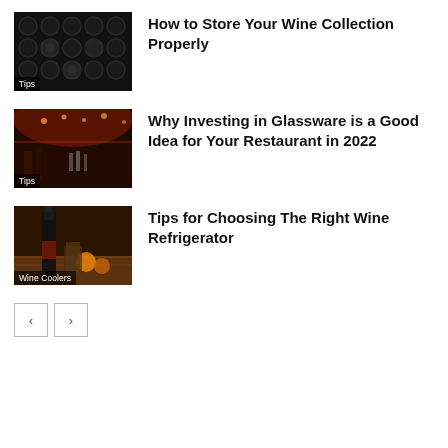[Figure (photo): Dark background with circular wine bottle caps pattern, wine cellar rack thumbnail with 'Tips' label overlay]
How to Store Your Wine Collection Properly
[Figure (photo): Restaurant bar interior with red ambient lighting, glassware visible, 'Tips' label overlay]
Why Investing in Glassware is a Good Idea for Your Restaurant in 2022
[Figure (photo): Wine bottle on wooden surface with fruits, 'Wine Coolers' label overlay]
Tips for Choosing The Right Wine Refrigerator